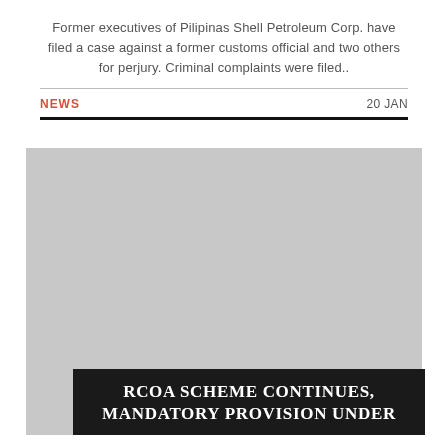Former executives of Pilipinas Shell Petroleum Corp. have filed a case against a former customs official and two others for perjury. Criminal complaints were filed..
NEWS   20 JAN
[Figure (photo): Large grey placeholder image representing a news article photo]
RCOA SCHEME CONTINUES, MANDATORY PROVISION UNDER